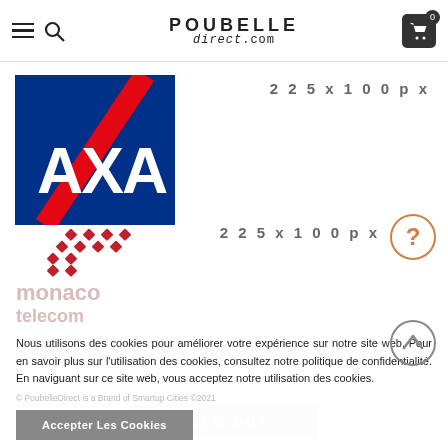POUBELLE direct.com — header navigation
[Figure (logo): AXA insurance company logo — blue rectangle with white AXA letters and red diagonal stripe. Placeholder size label: 225 x 100px]
[Figure (logo): Monaco Telecom logo — red diamond dot pattern above 'monaco telecom' text in light rose/pink color. Placeholder size label: 225 x 100px with question mark circle]
Nous utilisons des cookies pour améliorer votre expérience sur notre site web. Pour en savoir plus sur l'utilisation des cookies, consultez notre politique de confidentialité. En naviguant sur ce site web, vous acceptez notre utilisation des cookies.
© PoubelleDirect is a Brand of Smartup Cities ©2021
Accepter Les Cookies
SOLD OUT